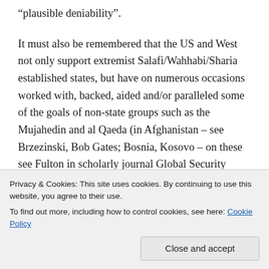“plausible deniability”.
It must also be remembered that the US and West not only support extremist Salafi/Wahhabi/Sharia established states, but have on numerous occasions worked with, backed, aided and/or paralleled some of the goals of non-state groups such as the Mujahedin and al Qaeda (in Afghanistan – see Brzezinski, Bob Gates; Bosnia, Kosovo – on these see Fulton in scholarly journal Global Security Studies), including under Obama in relation to Libya.  In US support for the
Privacy & Cookies: This site uses cookies. By continuing to use this website, you agree to their use.
To find out more, including how to control cookies, see here: Cookie Policy
Close and accept
with the current ruling power and staying in power, as